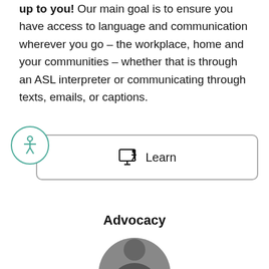up to you! Our main goal is to ensure you have access to language and communication wherever you go – the workplace, home and your communities – whether that is through an ASL interpreter or communicating through texts, emails, or captions.
[Figure (infographic): Teal circle with accessibility icon (person with arms outstretched inside circle), next to a rounded rectangle box containing a computer/monitor icon and the word 'Learn']
Advocacy
[Figure (photo): Circular cropped photo of a person, partially visible at bottom of page]